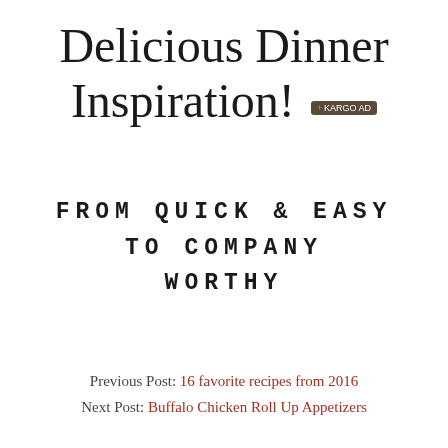Delicious Dinner Inspiration!
FROM QUICK & EASY TO COMPANY WORTHY
Previous Post: 16 favorite recipes from 2016
Next Post: Buffalo Chicken Roll Up Appetizers